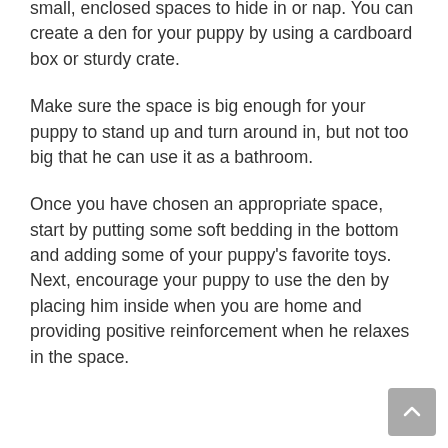small, enclosed spaces to hide in or nap. You can create a den for your puppy by using a cardboard box or sturdy crate.
Make sure the space is big enough for your puppy to stand up and turn around in, but not too big that he can use it as a bathroom.
Once you have chosen an appropriate space, start by putting some soft bedding in the bottom and adding some of your puppy's favorite toys. Next, encourage your puppy to use the den by placing him inside when you are home and providing positive reinforcement when he relaxes in the space.